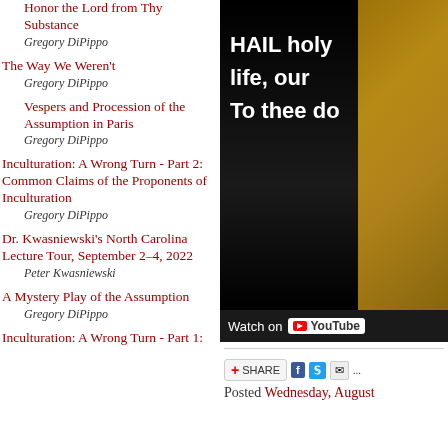Honor the Lord from Thy Substance
Gregory DiPippo
The Way We Weren't
Gregory DiPippo
Vespers and Procession of the Assumption in Paris
Gregory DiPippo
Inculturation: A Wrong Turn - Part 2: Common Claims of the Proponents of Inculturation
Gregory DiPippo
Dr. Kwasniewski's North Carolina Lecture Tour, September 2–4, 2022
Peter Kwasniewski
A Mystery Play of the Assumption
Gregory DiPippo
Inculturation: A Wrong Turn - Part 1:
[Figure (screenshot): YouTube video thumbnail showing text 'HAIL holy... life, our... To thee do...' overlaid on a golden religious sculpture/carving, with a 'Watch on YouTube' bar at the bottom.]
SHARE
Posted Wednesday, August